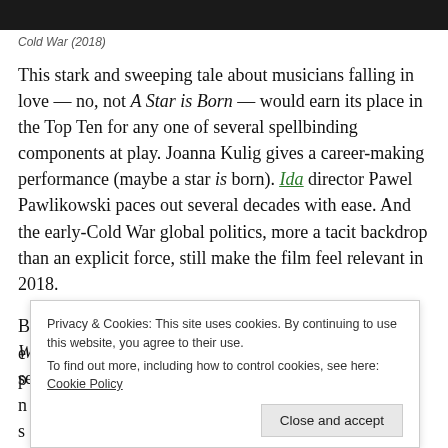[Figure (photo): Dark photo strip at the top of the page]
Cold War (2018)
This stark and sweeping tale about musicians falling in love — no, not A Star is Born — would earn its place in the Top Ten for any one of several spellbinding components at play. Joanna Kulig gives a career-making performance (maybe a star is born). Ida director Pawel Pawlikowski paces out several decades with ease. And the early-Cold War global politics, more a tacit backdrop than an explicit force, still make the film feel relevant in 2018.
But taken together, those disparate elements make Cold War bewitching. It's complete, both in the sense that we see the e... p... n... t... s...
Privacy & Cookies: This site uses cookies. By continuing to use this website, you agree to their use.
To find out more, including how to control cookies, see here: Cookie Policy